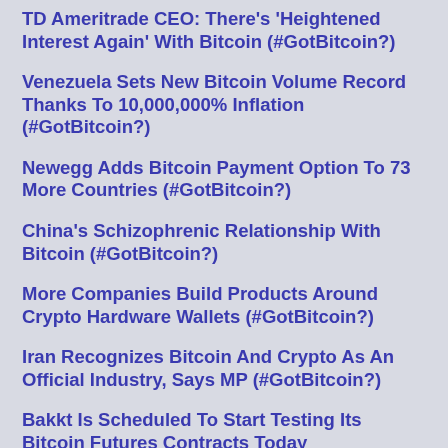TD Ameritrade CEO: There's 'Heightened Interest Again' With Bitcoin (#GotBitcoin?)
Venezuela Sets New Bitcoin Volume Record Thanks To 10,000,000% Inflation (#GotBitcoin?)
Newegg Adds Bitcoin Payment Option To 73 More Countries (#GotBitcoin?)
China's Schizophrenic Relationship With Bitcoin (#GotBitcoin?)
More Companies Build Products Around Crypto Hardware Wallets (#GotBitcoin?)
Iran Recognizes Bitcoin And Crypto As An Official Industry, Says MP (#GotBitcoin?)
Bakkt Is Scheduled To Start Testing Its Bitcoin Futures Contracts Today (#GotBitcoin?)